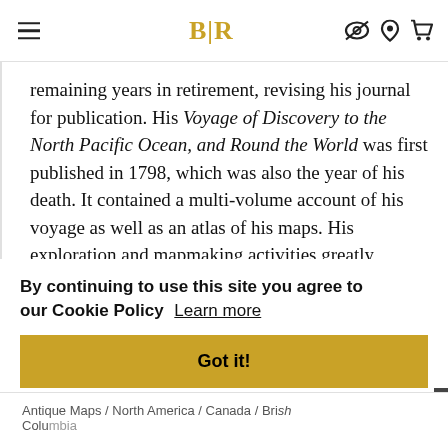BLR
remaining years in retirement, revising his journal for publication. His Voyage of Discovery to the North Pacific Ocean, and Round the World was first published in 1798, which was also the year of his death. It contained a multi-volume account of his voyage as well as an atlas of his maps. His exploration and mapmaking activities greatly increased knowledge of the
By continuing to use this site you agree to our Cookie Policy  Learn more
Got it!
Antique Maps / North America / Canada / British Columbia /